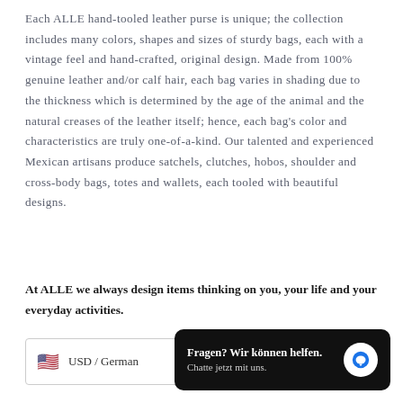Each ALLE hand-tooled leather purse is unique; the collection includes many colors, shapes and sizes of sturdy bags, each with a vintage feel and hand-crafted, original design. Made from 100% genuine leather and/or calf hair, each bag varies in shading due to the thickness which is determined by the age of the animal and the natural creases of the leather itself; hence, each bag's color and characteristics are truly one-of-a-kind. Our talented and experienced Mexican artisans produce satchels, clutches, hobos, shoulder and cross-body bags, totes and wallets, each tooled with beautiful designs.
At ALLE we always design items thinking on you, your life and your everyday activities.
USD / German
Fragen? Wir können helfen. Chatte jetzt mit uns.